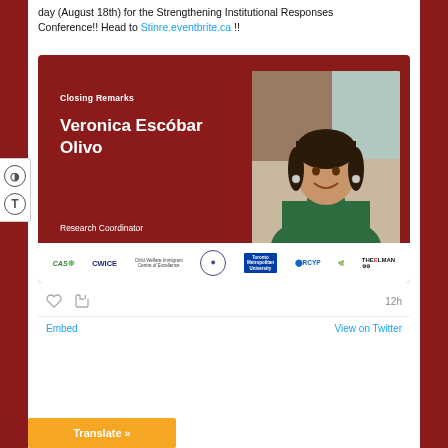day (August 18th) for the Strengthening Institutional Responses Conference!! Head to Stinre.eventbrite.ca !!
[Figure (infographic): Dark red conference card for 'Closing Remarks' by Veronica Escóbar Olivo, Research Coordinator, with a photo of a woman in a green turtleneck sweater, and a logos bar showing CAS, CWICE, Toronto Metropolitan University, RCYP, and other organizations.]
12h
Embed    View on Twitter
Translate »